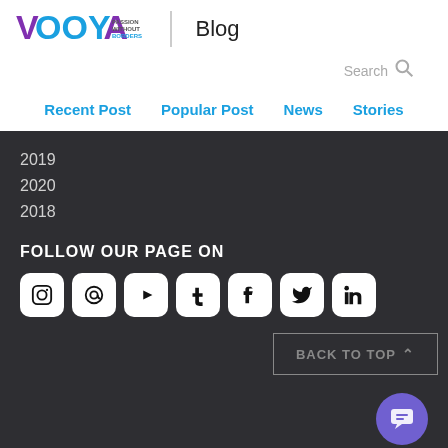[Figure (logo): Vooya 'Passion Without Borders' logo with checkmark, followed by vertical divider and 'Blog' text]
Search
Recent Post
Popular Post
News
Stories
2019
2020
2018
FOLLOW OUR PAGE ON
[Figure (infographic): Row of social media icons: Instagram, email/@, YouTube, Tumblr, Facebook, Twitter/X, LinkedIn]
BACK TO TOP
[Figure (illustration): Purple circular chat/support button]